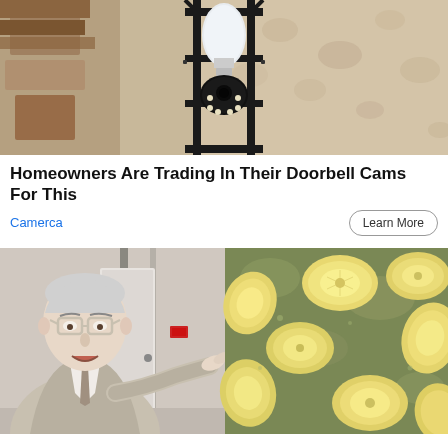[Figure (photo): Security camera light bulb mounted in an outdoor black metal lantern fixture against a beige stucco wall]
Homeowners Are Trading In Their Doorbell Cams For This
Camerca   Learn More
[Figure (photo): Older man in suit with glasses pointing at something next to image of banana slices boiling in water]